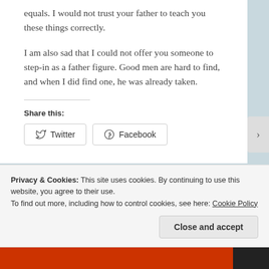equals. I would not trust your father to teach you these things correctly.
I am also sad that I could not offer you someone to step-in as a father figure. Good men are hard to find, and when I did find one, he was already taken.
Share this:
[Figure (screenshot): Share buttons for Twitter and Facebook]
Privacy & Cookies: This site uses cookies. By continuing to use this website, you agree to their use.
To find out more, including how to control cookies, see here: Cookie Policy
Close and accept